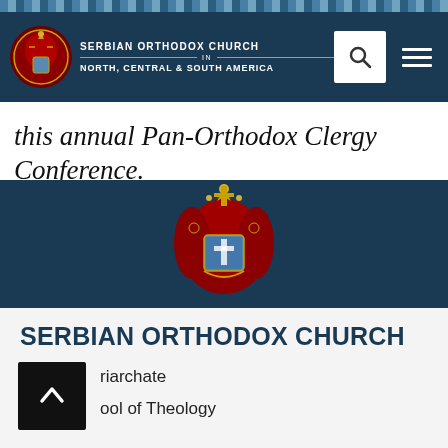[Figure (logo): Serbian Orthodox Church in North, Central & South America navigation header with emblem, church name, search icon and hamburger menu]
this annual Pan-Orthodox Clergy Conference.
[Figure (logo): Serbian Orthodox Church coat of arms emblem centered above footer text]
SERBIAN ORTHODOX CHURCH
IN NORTH, CENTRAL, & SOUTH AMERICA
SERBIAN ORTHODOX CHURCH
riarchate
ool of Theology